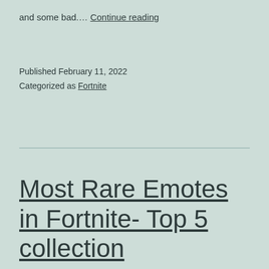and some bad…. Continue reading
Published February 11, 2022
Categorized as Fortnite
Most Rare Emotes in Fortnite- Top 5 collection